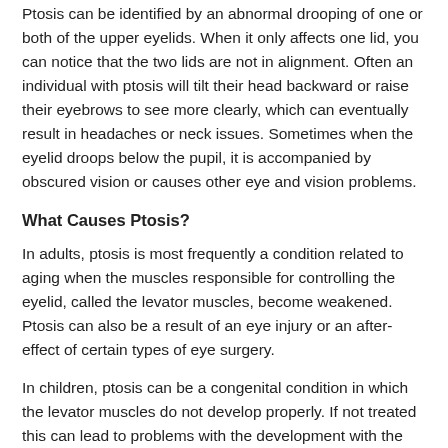Ptosis can be identified by an abnormal drooping of one or both of the upper eyelids. When it only affects one lid, you can notice that the two lids are not in alignment. Often an individual with ptosis will tilt their head backward or raise their eyebrows to see more clearly, which can eventually result in headaches or neck issues. Sometimes when the eyelid droops below the pupil, it is accompanied by obscured vision or causes other eye and vision problems.
What Causes Ptosis?
In adults, ptosis is most frequently a condition related to aging when the muscles responsible for controlling the eyelid, called the levator muscles, become weakened. Ptosis can also be a result of an eye injury or an after-effect of certain types of eye surgery.
In children, ptosis can be a congenital condition in which the levator muscles do not develop properly. If not treated this can lead to problems with the development with the child's visual system and may cause amblyopia (lazy eye), astigmatism or strabismus (crossed eyes).